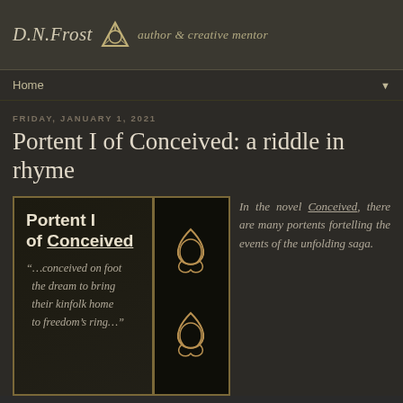D.N.Frost — author & creative mentor
Home ▼
FRIDAY, JANUARY 1, 2021
Portent I of Conceived: a riddle in rhyme
[Figure (illustration): Book cover image showing 'Portent I of Conceived' with italic verse text: '...conceived on foot the dream to bring their kinfolk home to freedom's ring...' and decorative triquetra symbols on a dark background]
In the novel Conceived, there are many portents fortelling the events of the unfolding saga.